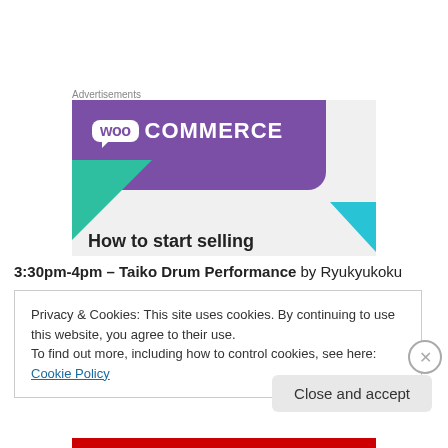Advertisements
[Figure (illustration): WooCommerce advertisement banner with purple background, WooCommerce logo, teal triangle, cyan triangle, and text 'How to start selling']
3:30pm-4pm – Taiko Drum Performance by Ryukyukoku
Privacy & Cookies: This site uses cookies. By continuing to use this website, you agree to their use.
To find out more, including how to control cookies, see here: Cookie Policy